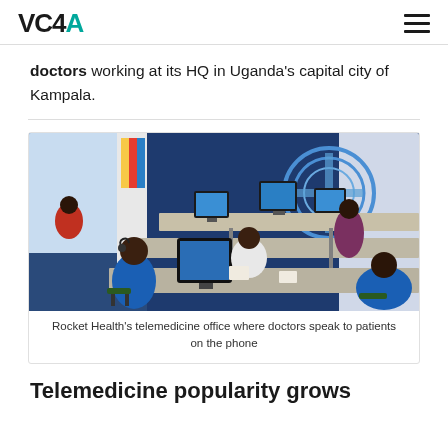VC4A
doctors working at its HQ in Uganda's capital city of Kampala.
[Figure (photo): Rocket Health's telemedicine office where doctors speak to patients on the phone — an open-plan office with rows of desks, people wearing headsets and working at computers, colorful wall art in the background.]
Rocket Health's telemedicine office where doctors speak to patients on the phone
Telemedicine popularity grows